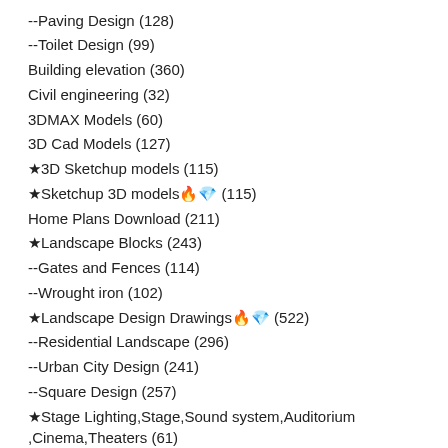--Paving Design (128)
--Toilet Design (99)
Building elevation (360)
Civil engineering (32)
3DMAX Models (60)
3D Cad Models (127)
★3D Sketchup models (115)
★Sketchup 3D models🔥💎 (115)
Home Plans Download (211)
★Landscape Blocks (243)
--Gates and Fences (114)
--Wrought iron (102)
★Landscape Design Drawings🔥💎 (522)
--Residential Landscape (296)
--Urban City Design (241)
--Square Design (257)
★Stage Lighting,Stage,Sound system,Auditorium ,Cinema,Theaters (61)
★Villa,Chateau,Manor,Mansion (64)
★Stadium,Gymnasium,Sports hall (20)